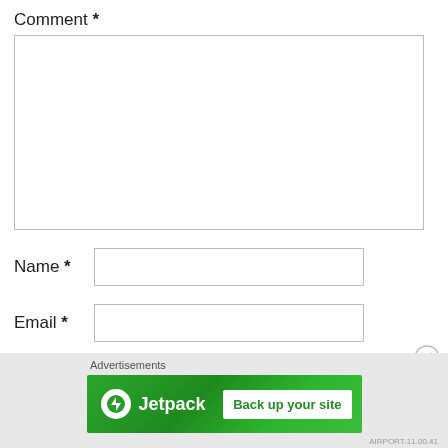Comment *
[Figure (screenshot): Empty comment textarea form field]
Name *
[Figure (screenshot): Empty name input field]
Email *
[Figure (screenshot): Empty email input field]
Advertisements
[Figure (infographic): Jetpack advertisement banner with green background showing Jetpack logo and 'Back up your site' button]